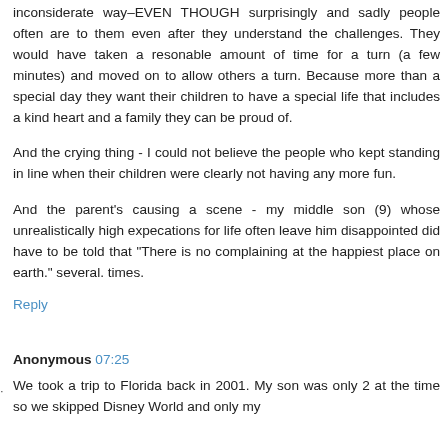inconsiderate way–EVEN THOUGH surprisingly and sadly people often are to them even after they understand the challenges. They would have taken a resonable amount of time for a turn (a few minutes) and moved on to allow others a turn. Because more than a special day they want their children to have a special life that includes a kind heart and a family they can be proud of.
And the crying thing - I could not believe the people who kept standing in line when their children were clearly not having any more fun.
And the parent's causing a scene - my middle son (9) whose unrealistically high expecations for life often leave him disappointed did have to be told that "There is no complaining at the happiest place on earth." several. times.
Reply
Anonymous 07:25
We took a trip to Florida back in 2001. My son was only 2 at the time so we skipped Disney World and only my